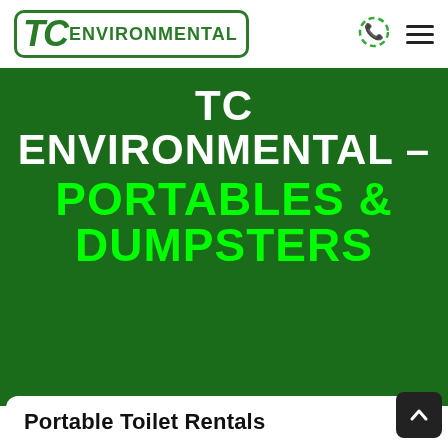[Figure (logo): TC Environmental logo — green italic TC letters with ENVIRONMENTAL text inside a rounded green border box]
[Figure (other): Phone/call icon (green ringing phone) in header]
[Figure (other): Hamburger menu icon (three horizontal lines) in header]
TC ENVIRONMENTAL – PORTABLES & DUMPSTERS
Portable Toilet Rentals